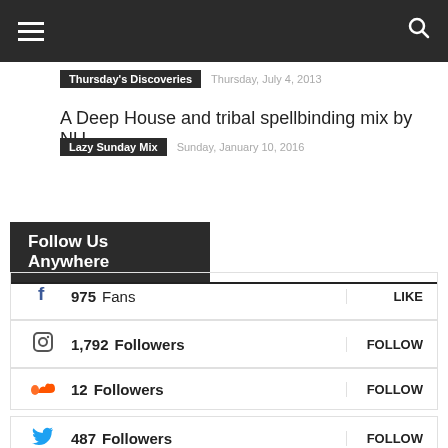navigation bar with hamburger menu and search icon
Thursday's Discoveries   Thursday, July 4, 2013
A Deep House and tribal spellbinding mix by NU
Lazy Sunday Mix   Sunday, January 10, 2016
Follow Us Anywhere
975  Fans  LIKE
1,792  Followers  FOLLOW
12  Followers  FOLLOW
487  Followers  FOLLOW